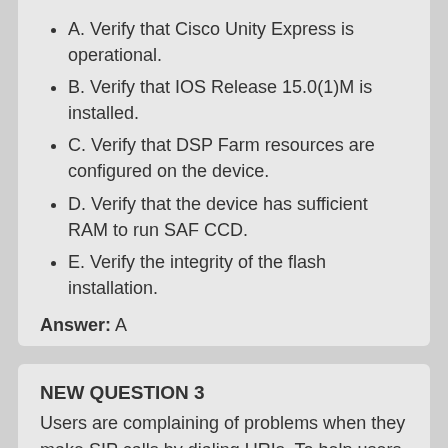A. Verify that Cisco Unity Express is operational.
B. Verify that IOS Release 15.0(1)M is installed.
C. Verify that DSP Farm resources are configured on the device.
D. Verify that the device has sufficient RAM to run SAF CCD.
E. Verify the integrity of the flash installation.
Answer: A
NEW QUESTION 3
Users are complaining of problems when they make SIP calls by dialing URIs. To help users complete calls, what must you do?
A. Adjust the URI lookup policy to case desensitive.